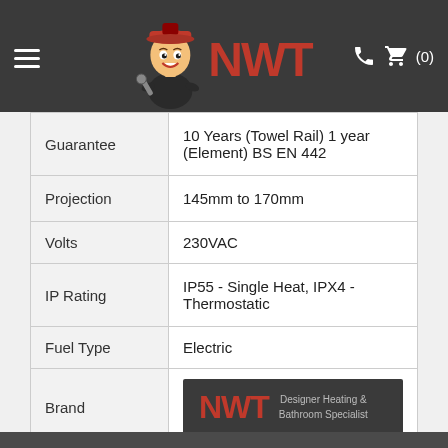NWT Designer Heating & Bathroom Specialist - Navigation header
| Property | Value |
| --- | --- |
| Guarantee | 10 Years (Towel Rail) 1 year (Element) BS EN 442 |
| Projection | 145mm to 170mm |
| Volts | 230VAC |
| IP Rating | IP55 - Single Heat, IPX4 - Thermostatic |
| Fuel Type | Electric |
| Brand | NWT Designer Heating & Bathroom Specialist |